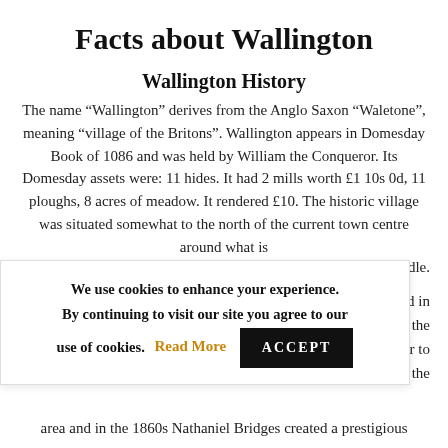Facts about Wallington
Wallington History
The name “Wallington” derives from the Anglo Saxon “Waletone”, meaning “village of the Britons”. Wallington appears in Domesday Book of 1086 and was held by William the Conqueror. Its Domesday assets were: 11 hides. It had 2 mills worth £1 10s 0d, 11 ploughs, 8 acres of meadow. It rendered £10. The historic village was situated somewhat to the north of the current town centre around what is
Wandle.
tion was opened in
gton because the
ng built near to
evelopment of the
We use cookies to enhance your experience. By continuing to visit our site you agree to our use of cookies. Read More ACCEPT
area and in the 1860s Nathaniel Bridges created a prestigious